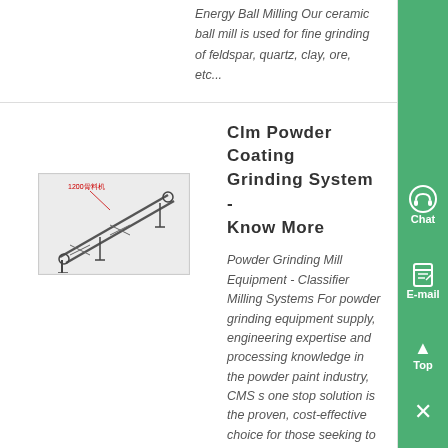Energy Ball Milling Our ceramic ball mill is used for fine grinding of feldspar, quartz, clay, ore, etc...
Clm Powder Coating Grinding System - Know More
[Figure (engineering-diagram): Engineering diagram of a conveyor/milling system with structural framework, labeled in Chinese (1200骨料机)]
Powder Grinding Mill Equipment - Classifier Milling Systems For powder grinding equipment supply, engineering expertise and processing knowledge in the powder paint industry, CMS s one stop solution is the proven, cost-effective choice for those seeking to operate their own powder coating grinding mill and powder processing equipment ,...